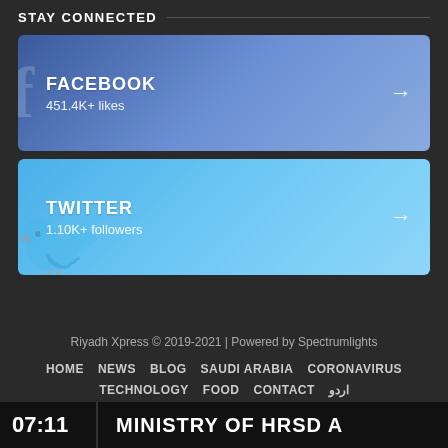STAY CONNECTED
[Figure (infographic): Facebook social media card showing FACEBOOK with 451.4K+ likes and an arrow]
[Figure (infographic): Twitter social media card showing TWITTER with 1.10K+ followers and an arrow]
Riyadh Xpress © 2019-2021 | Powered by Spectrumlights
HOME  NEWS  BLOG  SAUDI ARABIA  CORONAVIRUS  TECHNOLOGY  FOOD  CONTACT  اردو
07:11  MINISTRY OF HRSD A